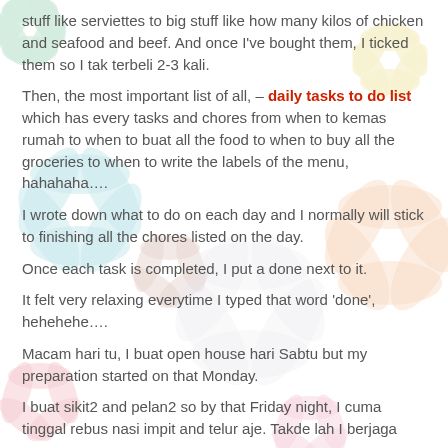stuff like serviettes to big stuff like how many kilos of chicken and seafood and beef. And once I've bought them, I ticked them so I tak terbeli 2-3 kali.
Then, the most important list of all, – daily tasks to do list which has every tasks and chores from when to kemas rumah to when to buat all the food to when to buy all the groceries to when to write the labels of the menu, hahahaha….
I wrote down what to do on each day and I normally will stick to finishing all the chores listed on the day.
Once each task is completed, I put a done next to it.
It felt very relaxing everytime I typed that word 'done', hehehehe….
Macam hari tu, I buat open house hari Sabtu but my preparation started on that Monday.
I buat sikit2 and pelan2 so by that Friday night, I cuma tinggal rebus nasi impit and telur aje. Takde lah I berjaga